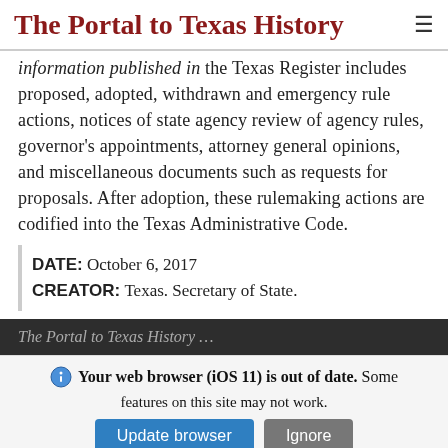The Portal to Texas History
information published in the Texas Register includes proposed, adopted, withdrawn and emergency rule actions, notices of state agency review of agency rules, governor's appointments, attorney general opinions, and miscellaneous documents such as requests for proposals. After adoption, these rulemaking actions are codified into the Texas Administrative Code.
DATE: October 6, 2017
CREATOR: Texas. Secretary of State.
The Portal to Texas History...
Your web browser (iOS 11) is out of date. Some features on this site may not work.